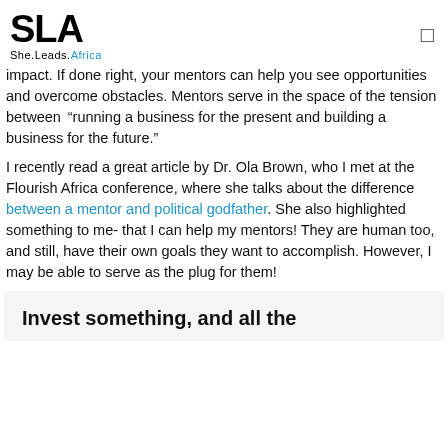SLA She.Leads.Africa
impact. If done right, your mentors can help you see opportunities and overcome obstacles. Mentors serve in the space of the tension between “running a business for the present and building a business for the future.”
I recently read a great article by Dr. Ola Brown, who I met at the Flourish Africa conference, where she talks about the difference between a mentor and political godfather. She also highlighted something to me- that I can help my mentors! They are human too, and still, have their own goals they want to accomplish. However, I may be able to serve as the plug for them!
Invest something, and all the